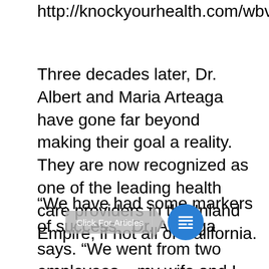http://knockyourhealth.com/wbv/.
Three decades later, Dr. Albert and Maria Arteaga have gone far beyond making their goal a reality. They are now recognized as one of the leading health care providers in the Inland Empire, if not all of California.
“We have had some markers of success,” Dr. Arteaga says. “We went from two employees – my wife and I – to a fully staffed clinic. We opened more clinics. Then we started our IPA (independent practice association) to keep up with new demands to make health care more and
[Figure (other): Click For Articles button overlay with grey label, arrow, and blue circle icon with newspaper symbol]